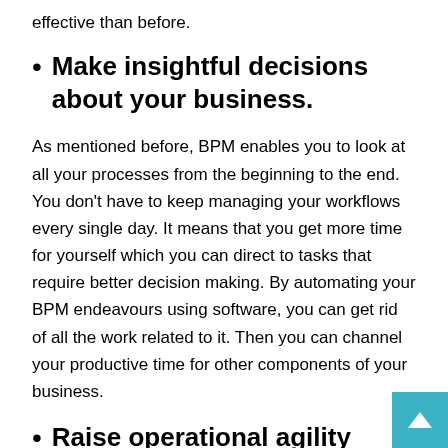effective than before.
Make insightful decisions about your business.
As mentioned before, BPM enables you to look at all your processes from the beginning to the end. You don't have to keep managing your workflows every single day. It means that you get more time for yourself which you can direct to tasks that require better decision making. By automating your BPM endeavours using software, you can get rid of all the work related to it. Then you can channel your productive time for other components of your business.
Raise operational agility
BPM assists an organization in enhancing its operational